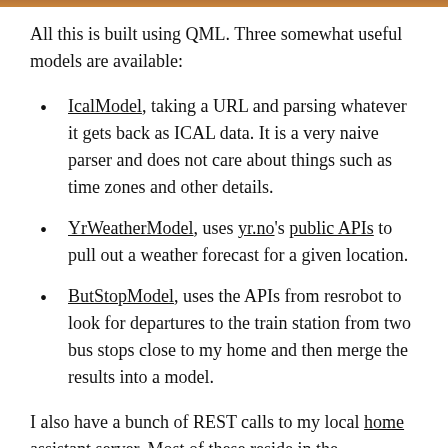All this is built using QML. Three somewhat useful models are available:
IcalModel, taking a URL and parsing whatever it gets back as ICAL data. It is a very naive parser and does not care about things such as time zones and other details.
YrWeatherModel, uses yr.no's public APIs to pull out a weather forecast for a given location.
ButStopModel, uses the APIs from resrobot to look for departures to the train station from two bus stops close to my home and then merge the results into a model.
I also have a bunch of REST calls to my local home assistant server. Most of these reside in the HassButton class, but I also get the current temperature from there. These are hardcoded for